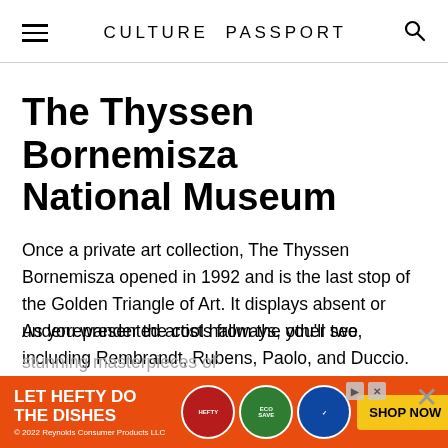CULTURE PASSPORT
The Thyssen Bornemisza National Museum
Once a private art collection, The Thyssen Bornemisza opened in 1992 and is the last stop of the Golden Triangle of Art. It displays absent or underrepresented artists from the other two, including Rembrandt, Rubens, Paolo, and Duccio.
As you wander the cool hallways, you'll see stunning masterpieces of
[Figure (screenshot): Advertisement banner: orange background reading 'LET HEFTY DO THE DISHES' with product images and 'SHOP NOW' button, close controls shown]